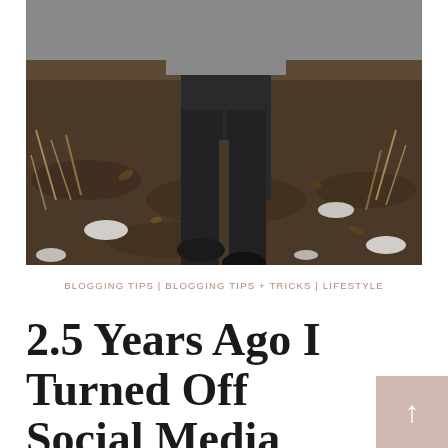[Figure (photo): Photo of a person wearing black leggings and dark shoes, standing on muddy ground covered with dry leaves, straw, and patches of snow. Only the lower body from waist down is visible. The person wears a gray top.]
BLOGGING TIPS | BLOGGING TIPS + TRICKS | LIFESTYLE
2.5 Years Ago I Turned Off Social Media Notifications...